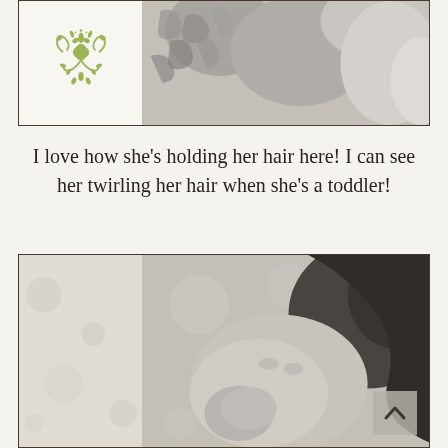[Figure (photo): Top framed image split in two halves: left half shows a decorative green ornamental floral/scrollwork illustration on white background; right half shows a black-and-white close-up photo of a baby's curly/textured hair and skin.]
I love how she's holding her hair here! I can see her twirling her hair when she's a toddler!
[Figure (photo): Bottom framed image: black-and-white close-up photo of a newborn baby with dark hair, hand near face, soft blurred background with subtle bokeh. A navigation chevron (up arrow) button is visible in the bottom-right corner.]